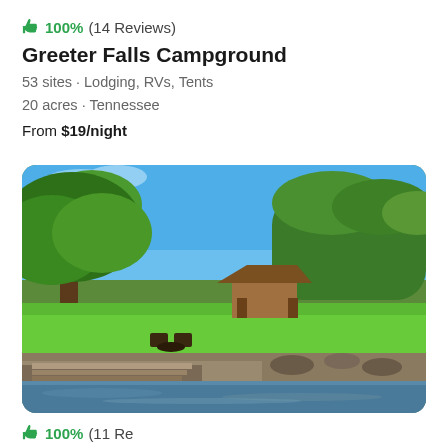👍 100% (14 Reviews)
Greeter Falls Campground
53 sites · Lodging, RVs, Tents
20 acres · Tennessee
From $19/night
[Figure (photo): Outdoor campground scene with lush green trees, open grass, a wooden shelter/pavilion in the background, rocky riverbank in the foreground with calm water, and a bright blue sky]
👍 100% (11 Reviews) (partially visible)